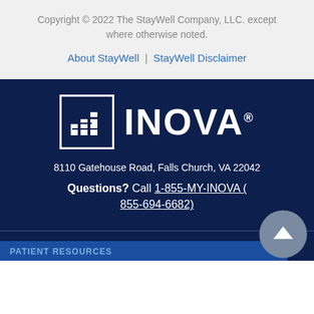Copyright © 2022 The StayWell Company, LLC. except where otherwise noted.
About StayWell | StayWell Disclaimer
[Figure (logo): Inova Health logo: white square icon with building/staircase graphic beside large white INOVA® wordmark on dark navy background]
8110 Gatehouse Road, Falls Church, VA 22042
Questions? Call 1-855-MY-INOVA (855-694-6682)
PATIENT RESOURCES